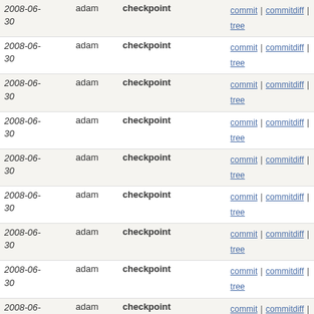| date | author | message | links |
| --- | --- | --- | --- |
| 2008-06-30 | adam | checkpoint | commit | commitdiff | tree |
| 2008-06-30 | adam | checkpoint | commit | commitdiff | tree |
| 2008-06-30 | adam | checkpoint | commit | commitdiff | tree |
| 2008-06-30 | adam | checkpoint | commit | commitdiff | tree |
| 2008-06-30 | adam | checkpoint | commit | commitdiff | tree |
| 2008-06-30 | adam | checkpoint | commit | commitdiff | tree |
| 2008-06-30 | adam | checkpoint | commit | commitdiff | tree |
| 2008-06-30 | adam | checkpoint | commit | commitdiff | tree |
| 2008-06-29 | adam | checkpoint | commit | commitdiff | tree |
| 2008-06-29 | adam | checkpoint | commit | commitdiff | tree |
| 2008-06-29 | adam | checkpoint | commit | commitdiff | tree |
| 2008-06-29 | adam | checkpoint | commit | commitdiff | tree |
| 2008-06-29 | adam | checkpoint | commit | commitdiff | tree |